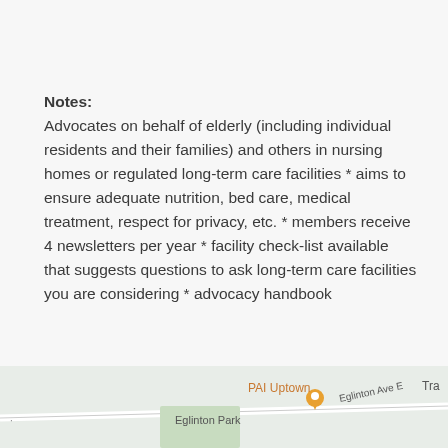Notes: Advocates on behalf of elderly (including individual residents and their families) and others in nursing homes or regulated long-term care facilities * aims to ensure adequate nutrition, bed care, medical treatment, respect for privacy, etc. * members receive 4 newsletters per year * facility check-list available that suggests questions to ask long-term care facilities you are considering * advocacy handbook
[Figure (map): Partial street map showing PAI Uptown location marker near Eglinton Ave E and Eglinton Park area]